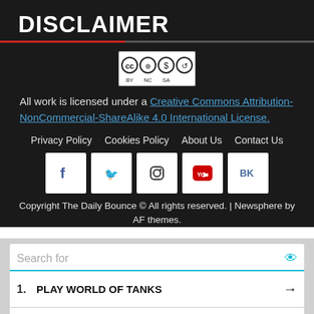DISCLAIMER
[Figure (logo): Creative Commons BY NC SA license badge]
All work is licensed under a Creative Commons Attribution-NonCommercial-ShareAlike 4.0 International License.
Privacy Policy   Cookies Policy   About Us   Contact Us
[Figure (illustration): Social media icons: Facebook, Twitter, Instagram, YouTube, VK]
Copyright The Daily Bounce © All rights reserved. | Newsphere by AF themes.
Search for
1.  PLAY WORLD OF TANKS
2.  WW2 TANKS ONLINE